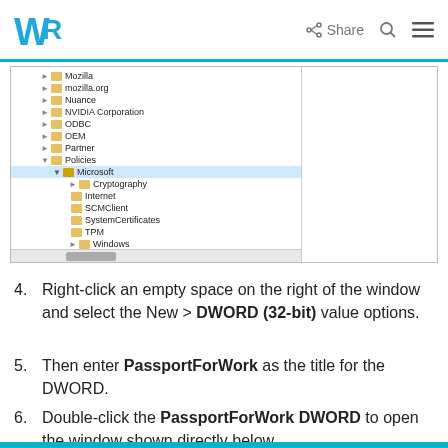WR | Share
[Figure (screenshot): Windows Registry Editor tree pane showing folder hierarchy including Mozilla, mozilla.org, Nuance, NVIDIA Corporation, ODBC, OEM, Partner, Policies expanded to show Microsoft subfolder with items: Cryptography, Internet, SCMClient, SystemCertificates, TPM, Windows, Windows Defender, Windows NT]
Right-click an empty space on the right of the window and select the New > DWORD (32-bit) value options.
Then enter PassportForWork as the title for the DWORD.
Double-click the PassportForWork DWORD to open the window shown directly below.